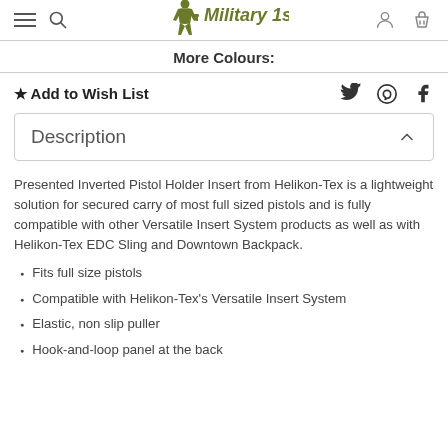Military 1st
More Colours:
★ Add to Wish List
Description
Presented Inverted Pistol Holder Insert from Helikon-Tex is a lightweight solution for secured carry of most full sized pistols and is fully compatible with other Versatile Insert System products as well as with Helikon-Tex EDC Sling and Downtown Backpack.
Fits full size pistols
Compatible with Helikon-Tex's Versatile Insert System
Elastic, non slip puller
Hook-and-loop panel at the back